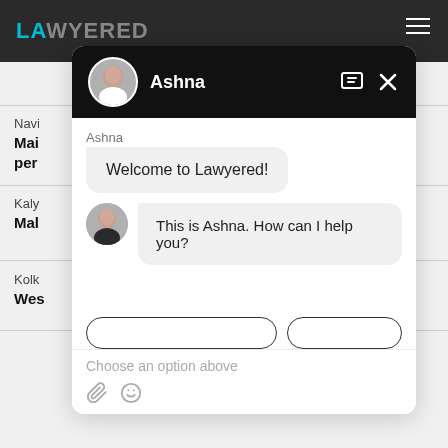[Figure (screenshot): Screenshot of the Lawyered website with a chat widget overlay. The top navigation bar is dark with the Lawyered logo in teal. The chat widget shows an agent named Ashna, with messages 'Welcome to Lawyered!' and 'This is Ashna. How can I help you?', a text input field showing 'Choose an option above', and icons for attachment and emoji at the bottom.]